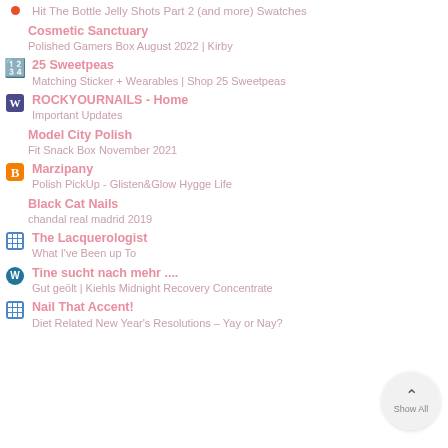Hit The Bottle Jelly Shots Part 2 (and more) Swatches
Cosmetic Sanctuary
Polished Gamers Box August 2022 | Kirby
25 Sweetpeas
Matching Sticker + Wearables | Shop 25 Sweetpeas
ROCKYOURNAILS - Home
Important Updates
Model City Polish
Fit Snack Box November 2021
Marzipany
Polish PickUp - Glisten&Glow Hygge Life
Black Cat Nails
chandal real madrid 2019
The Lacquerologist
What I've Been up To
Tine sucht nach mehr ....
Gut geölt | Kiehls Midnight Recovery Concentrate
Nail That Accent!
Diet Related New Year's Resolutions – Yay or Nay?